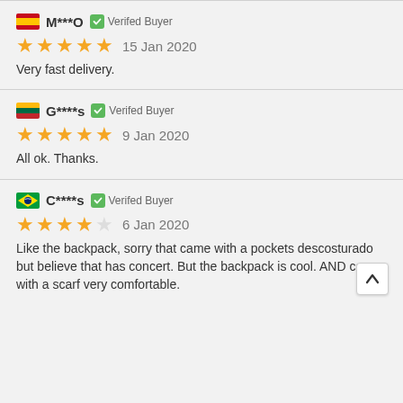M***O  Verifed Buyer  15 Jan 2020  Very fast delivery.
G****s  Verifed Buyer  9 Jan 2020  All ok. Thanks.
C****s  Verifed Buyer  6 Jan 2020  Like the backpack, sorry that came with a pockets descosturado but believe that has concert. But the backpack is cool. AND came with a scarf very comfortable.